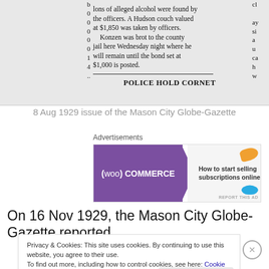[Figure (screenshot): Scanned newspaper clipping showing text about gallons of alleged alcohol found by officers, a Hudson couch valued at $1,850 taken by officers, Konzen brought to county jail, bond set at $1,000, and a section header 'POLICE HOLD CORNET']
8 Aug 1929 issue of the Mason City Globe-Gazette
Advertisements
[Figure (screenshot): WooCommerce advertisement banner: 'How to start selling subscriptions online']
On 16 Nov 1929, the Mason City Globe-Gazette reported
Privacy & Cookies: This site uses cookies. By continuing to use this website, you agree to their use.
To find out more, including how to control cookies, see here: Cookie Policy
Close and accept